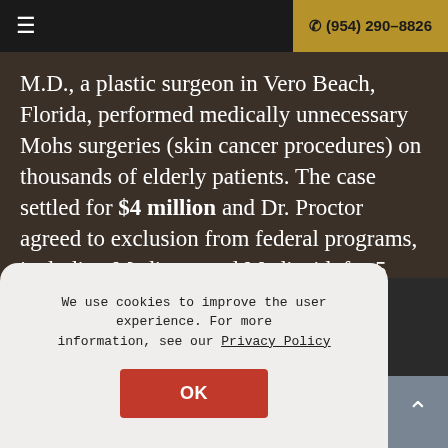≡   ☎ (954) 290-8826
M.D., a plastic surgeon in Vero Beach, Florida, performed medically unnecessary Mohs surgeries (skin cancer procedures) on thousands of elderly patients. The case settled for $4 million and Dr. Proctor agreed to exclusion from federal programs, including Medicare and Medicaid, for 5 years.
We use cookies to improve the user experience. For more information, see our Privacy Policy
OK